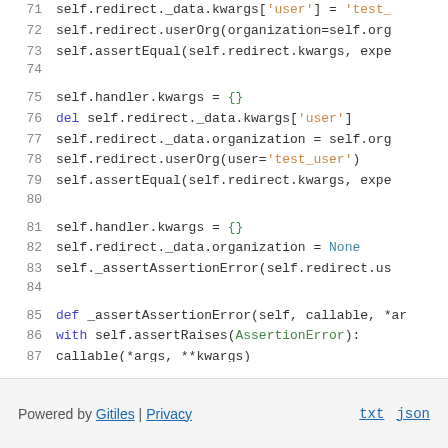[Figure (screenshot): Source code viewer showing Python code lines 71-87 with syntax highlighting. Lines include self.redirect._data.kwargs, self.redirect.userOrg, self.assertEqual, self.handler.kwargs, del statement, self.redirect._data.organization, self.assertRaises, callable(*args, **kwargs), and a def _assertAssertionError method.]
Powered by Gitiles | Privacy    txt  json